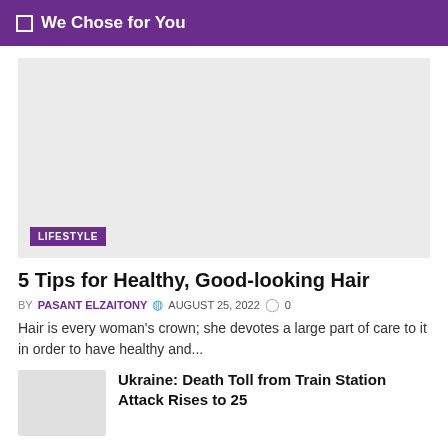We Chose for You
[Figure (photo): Featured article image placeholder (light gray background) with LIFESTYLE category tag overlay]
5 Tips for Healthy, Good-looking Hair
BY PASANT ELZAITONY  AUGUST 25, 2022  0
Hair is every woman's crown; she devotes a large part of care to it in order to have healthy and...
[Figure (photo): Small thumbnail image placeholder for Ukraine article]
Ukraine: Death Toll from Train Station Attack Rises to 25